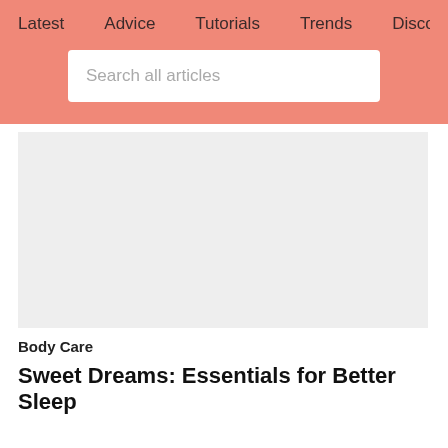Latest   Advice   Tutorials   Trends   Discover
Search all articles
[Figure (photo): Light gray placeholder image for article thumbnail]
Body Care
Sweet Dreams: Essentials for Better Sleep